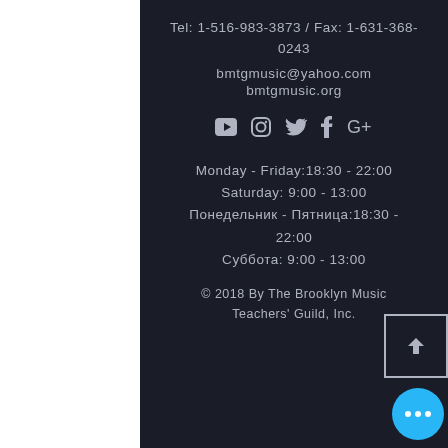Tel: 1-516-983-3873 / Fax: 1-631-368-0243
bmtgmusic@yahoo.com
bmtgmusic.org
[Figure (infographic): Social media icons: YouTube, Instagram, Twitter, Facebook, Google+]
Monday - Friday:18:30 - 22:00
Saturday: 9:00 - 13:00
Понедельник - Пятница:18:30 - 22:00
Суббота: 9:00 - 13:00
© 2018 By The Brooklyn Music Teachers' Guild, Inc.